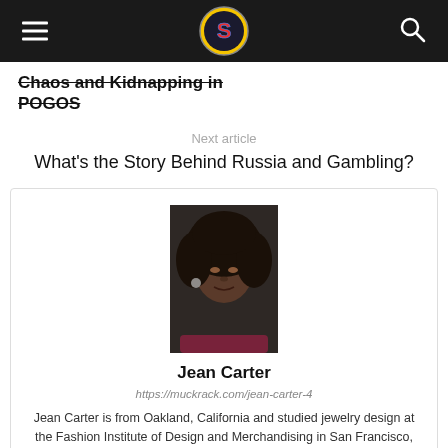Navigation bar with hamburger menu, site logo, and search icon
Chaos and Kidnapping in POGOS
Next article
What's the Story Behind Russia and Gambling?
[Figure (photo): Portrait photo of Jean Carter, a woman with curly black hair]
Jean Carter
https://muckrack.com/jean-carter-4
Jean Carter is from Oakland, California and studied jewelry design at the Fashion Institute of Design and Merchandising in San Francisco, California.